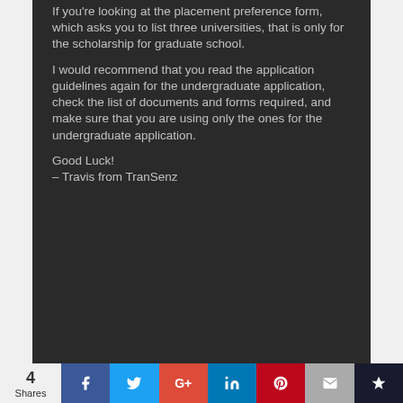If you're looking at the placement preference form, which asks you to list three universities, that is only for the scholarship for graduate school.
I would recommend that you read the application guidelines again for the undergraduate application, check the list of documents and forms required, and make sure that you are using only the ones for the undergraduate application.
Good Luck!
– Travis from TranSenz